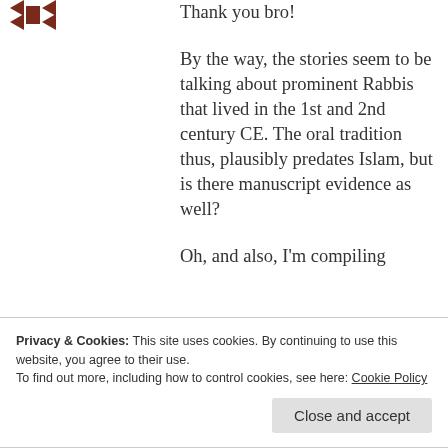[Figure (illustration): Small decorative icon or avatar image in dark reddish-brown color at top left]
Thank you bro!
By the way, the stories seem to be talking about prominent Rabbis that lived in the 1st and 2nd century CE. The oral tradition thus, plausibly predates Islam, but is there manuscript evidence as well?
Oh, and also, I'm compiling
Privacy & Cookies: This site uses cookies. By continuing to use this website, you agree to their use.
To find out more, including how to control cookies, see here: Cookie Policy
Close and accept